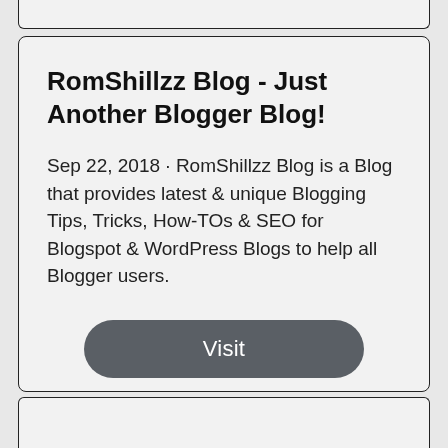RomShillzz Blog - Just Another Blogger Blog!
Sep 22, 2018 · RomShillzz Blog is a Blog that provides latest & unique Blogging Tips, Tricks, How-TOs & SEO for Blogspot & WordPress Blogs to help all Blogger users.
Visit